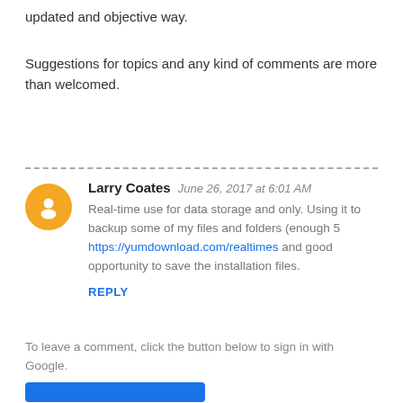updated and objective way.
Suggestions for topics and any kind of comments are more than welcomed.
Larry Coates  June 26, 2017 at 6:01 AM
Real-time use for data storage and only. Using it to backup some of my files and folders (enough 5 https://yumdownload.com/realtimes and good opportunity to save the installation files.
REPLY
To leave a comment, click the button below to sign in with Google.